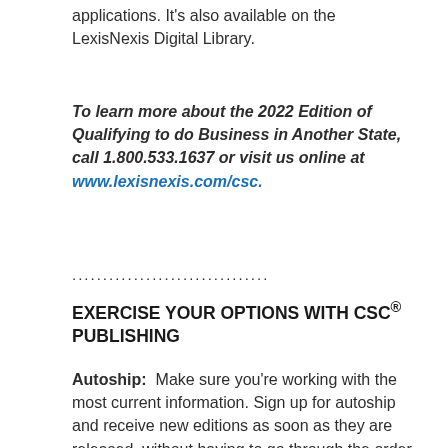applications. It's also available on the LexisNexis Digital Library.
To learn more about the 2022 Edition of Qualifying to do Business in Another State, call 1.800.533.1637 or visit us online at www.lexisnexis.com/csc.
................................
EXERCISE YOUR OPTIONS WITH CSC® PUBLISHING
Autoship:  Make sure you're working with the most current information. Sign up for autoship and receive new editions as soon as they are released, without having to go through the order process all over again.